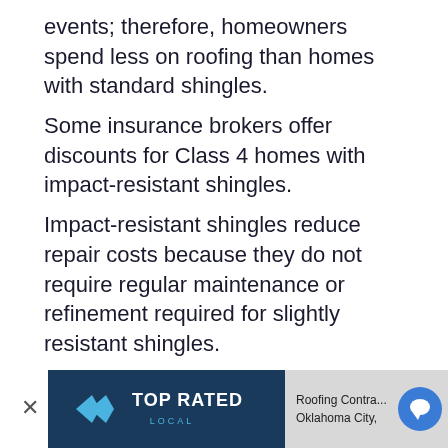events; therefore, homeowners spend less on roofing than homes with standard shingles.
Some insurance brokers offer discounts for Class 4 homes with impact-resistant shingles.
Impact-resistant shingles reduce repair costs because they do not require regular maintenance or refinement required for slightly resistant shingles.
Rising Sales Value
The 2019 Reconstruction Impact Report from the National Association of Realtors found that the new foreign proje...
[Figure (other): Top Rated Local banner with X close button, logo, and 'Roofing Contractor Oklahoma City,' text with chat button]